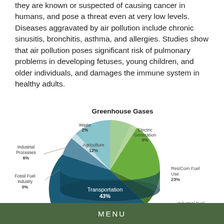they are known or suspected of causing cancer in humans, and pose a threat even at very low levels. Diseases aggravated by air pollution include chronic sinusitis, bronchitis, asthma, and allergies. Studies show that air pollution poses significant risk of pulmonary problems in developing fetuses, young children, and older individuals, and damages the immune system in healthy adults.
[Figure (pie-chart): Greenhouse Gases]
MENU